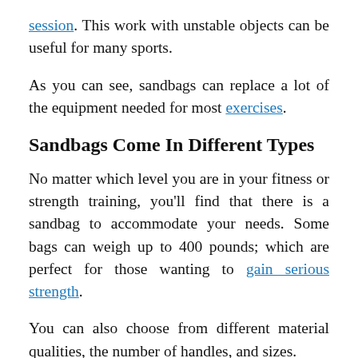session. This work with unstable objects can be useful for many sports.
As you can see, sandbags can replace a lot of the equipment needed for most exercises.
Sandbags Come In Different Types
No matter which level you are in your fitness or strength training, you’ll find that there is a sandbag to accommodate your needs. Some bags can weigh up to 400 pounds; which are perfect for those wanting to gain serious strength.
You can also choose from different material qualities, the number of handles, and sizes.